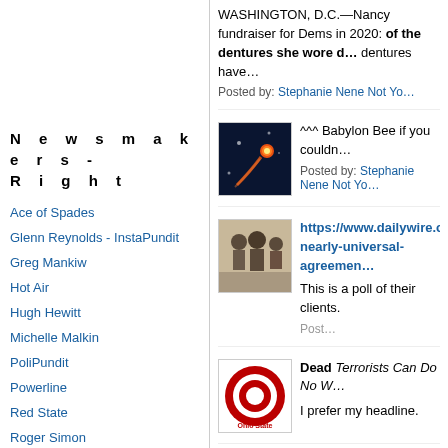WASHINGTON, D.C.—Nancy fundraiser for Dems in 2020: of the dentures she wore d… dentures have…
Posted by: Stephanie Nene Not Yo…
[Figure (photo): Meteor or fireball in night sky]
^^^ Babylon Bee if you couldn…
Posted by: Stephanie Nene Not Yo…
[Figure (photo): Old black and white photo of people]
https://www.dailywire.com/… nearly-universal-agreemen…
This is a poll of their clients.
Post…
[Figure (logo): Ohio State University logo]
Dead Terrorists Can Do No W…
I prefer my headline.
N e w s m a k e r s - R i g h t
Ace of Spades
Glenn Reynolds - InstaPundit
Greg Mankiw
Hot Air
Hugh Hewitt
Michelle Malkin
PoliPundit
Powerline
Red State
Roger Simon
Taegan Goddard's Political Wire